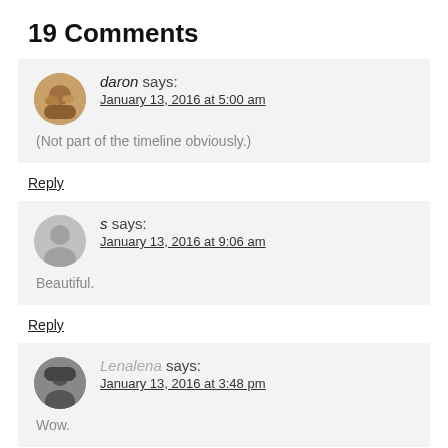19 Comments
daron says:
January 13, 2016 at 5:00 am
(Not part of the timeline obviously.)
Reply
s says:
January 13, 2016 at 9:06 am
Beautiful.
Reply
Lenalena says:
January 13, 2016 at 3:48 pm
Wow.
Reply